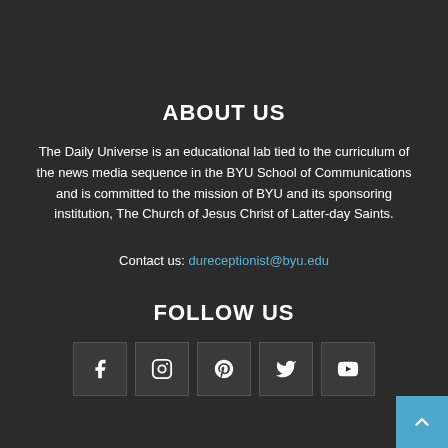ABOUT US
The Daily Universe is an educational lab tied to the curriculum of the news media sequence in the BYU School of Communications and is committed to the mission of BYU and its sponsoring institution, The Church of Jesus Christ of Latter-day Saints.
Contact us: dureceptionist@byu.edu
FOLLOW US
[Figure (infographic): Row of five social media icon buttons: Facebook, Instagram, Pinterest, Twitter, YouTube]